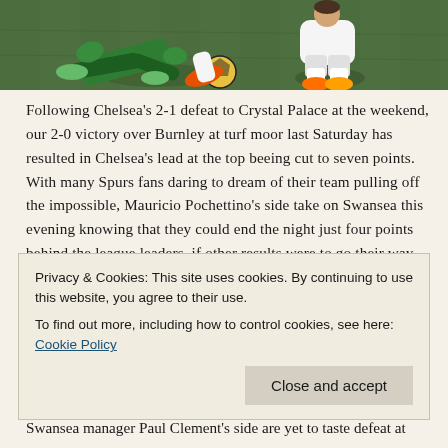[Figure (photo): Two football players on grass, one sliding tackle, one in white kit, colorful football visible, close-up of feet and legs]
Following Chelsea’s 2-1 defeat to Crystal Palace at the weekend, our 2-0 victory over Burnley at turf moor last Saturday has resulted in Chelsea’s lead at the top beeing cut to seven points. With many Spurs fans daring to dream of their team pulling off the impossible, Mauricio Pochettino’s side take on Swansea this evening knowing that they could end the night just four points behind the league leaders, if other results were to go their way. The determination and sheer might that Spurs showed on Saturday was highly commendable, despite suffering injuries to midfielders Victor Wanyama and Harry Winks. Spurs outclassed a Burnley side with
Privacy & Cookies: This site uses cookies. By continuing to use this website, you agree to their use.
To find out more, including how to control cookies, see here: Cookie Policy
Swansea manager Paul Clement’s side are yet to taste defeat at